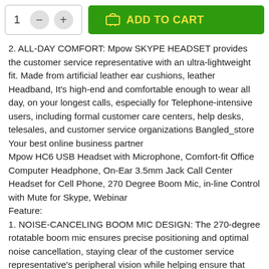[Figure (screenshot): Add to cart UI with quantity selector (1, minus button, plus button) and green ADD TO CART button with cart icon]
2. ALL-DAY COMFORT: Mpow SKYPE HEADSET provides the customer service representative with an ultra-lightweight fit. Made from artificial leather ear cushions, leather Headband, It's high-end and comfortable enough to wear all day, on your longest calls, especially for Telephone-intensive users, including formal customer care centers, help desks, telesales, and customer service organizations Bangled_store
Your best online business partner
Mpow HC6 USB Headset with Microphone, Comfort-fit Office Computer Headphone, On-Ear 3.5mm Jack Call Center Headset for Cell Phone, 270 Degree Boom Mic, in-line Control with Mute for Skype, Webinar
Feature:
1. NOISE-CANCELING BOOM MIC DESIGN: The 270-degree rotatable boom mic ensures precise positioning and optimal noise cancellation, staying clear of the customer service representative's peripheral vision while helping ensure that